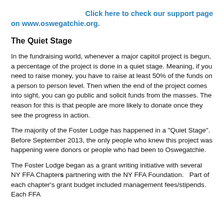Click here to check our support page on www.oswegatchie.org.
The Quiet Stage
In the fundraising world, whenever a major capitol project is begun, a percentage of the project is done in a quiet stage. Meaning, if you need to raise money, you have to raise at least 50% of the funds on a person to person level. Then when the end of the project comes into sight, you can go public and solicit funds from the masses. The reason for this is that people are more likely to donate once they see the progress in action.
The majority of the Foster Lodge has happened in a "Quiet Stage". Before September 2013, the only people who knew this project was happening were donors or people who had been to Oswegatchie.
The Foster Lodge began as a grant writing initiative with several NY FFA Chapters partnering with the NY FFA Foundation.   Part of each chapter's grant budget included management fees/stipends.  Each FFA